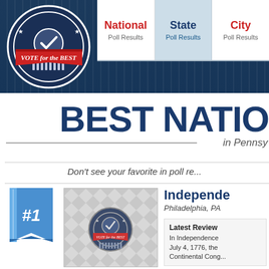[Figure (logo): Vote for the Best circular logo with checkmark and red banner]
National Poll Results | State Poll Results | City Poll Results
BEST NATIONAL in Pennsylvania
Don't see your favorite in poll re...
#1
[Figure (photo): Independence Hall thumbnail with Vote for the Best logo overlay]
Independence Hall
Philadelphia, PA
Latest Review
In Independence Hall, July 4, 1776, the Continental Cong...